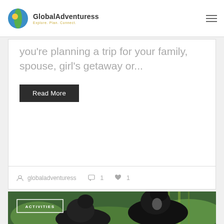GlobalAdventuress — Explore. Plan. Connect.
you're planning a trip for your family, spouse, girl's getaway or...
Read More
globaladventuress  1  1
[Figure (photo): Two mountain gorillas sitting among green vegetation and bamboo in a lush forest setting, with an ACTIVITIES badge overlaid in the top left corner]